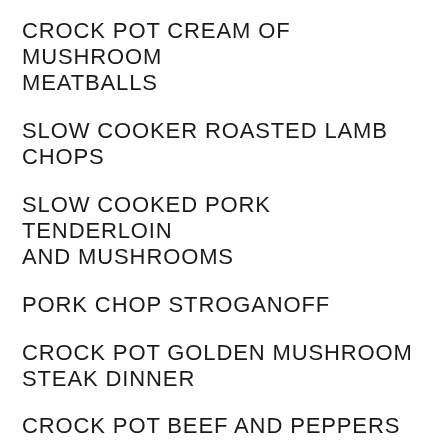CROCK POT CREAM OF MUSHROOM MEATBALLS
SLOW COOKER ROASTED LAMB CHOPS
SLOW COOKED PORK TENDERLOIN AND MUSHROOMS
PORK CHOP STROGANOFF
CROCK POT GOLDEN MUSHROOM STEAK DINNER
CROCK POT BEEF AND PEPPERS